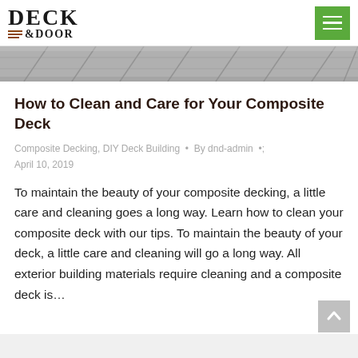DECK & DOOR
[Figure (photo): Composite deck boards close-up, grayscale hero image strip]
How to Clean and Care for Your Composite Deck
Composite Decking, DIY Deck Building • By dnd-admin • April 10, 2019
To maintain the beauty of your composite decking, a little care and cleaning goes a long way. Learn how to clean your composite deck with our tips. To maintain the beauty of your deck, a little care and cleaning will go a long way. All exterior building materials require cleaning and a composite deck is…